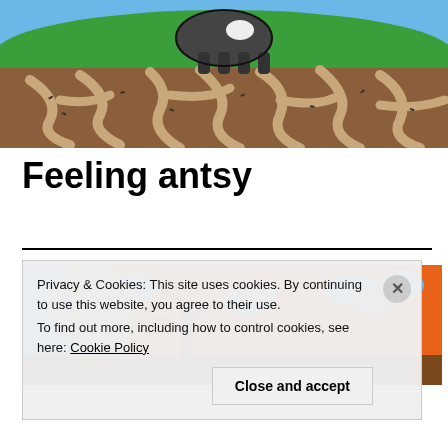[Figure (illustration): Cartoon illustration of an animal (dark/gray body, white marking) standing on green grass above a brown underground cross-section showing ant tunnels/roots winding through soil]
Feeling antsy
[Figure (illustration): Cartoon illustration with orange/red sunset sky, blue sky on left, brown tree branches and blue leafy trees]
Privacy & Cookies: This site uses cookies. By continuing to use this website, you agree to their use. To find out more, including how to control cookies, see here: Cookie Policy
Close and accept